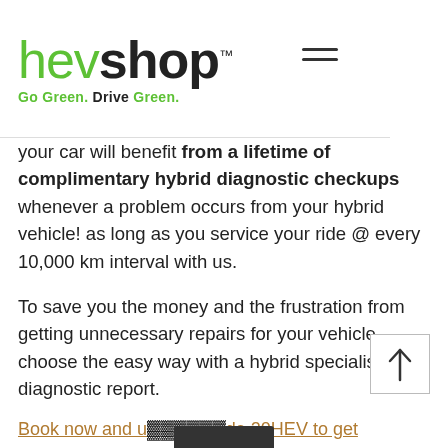hevshop™ — Go Green. Drive Green.
your car will benefit from a lifetime of complimentary hybrid diagnostic checkups whenever a problem occurs from your hybrid vehicle! as long as you service your ride @ every 10,000 km interval with us.
To save you the money and the frustration from getting unnecessary repairs for your vehicle, choose the easy way with a hybrid specialist diagnostic report.
*lifetime on the vehicle registered under the program
Book now and use code 20HEV to get